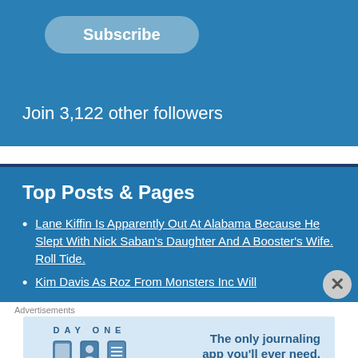[Figure (screenshot): Subscribe button with rounded rectangle shape on blue background]
Join 3,122 other followers
Top Posts & Pages
Lane Kiffin Is Apparently Out At Alabama Because He Slept With Nick Saban's Daughter And A Booster's Wife. Roll Tide.
Kim Davis As Roz From Monsters Inc Will
Advertisements
[Figure (screenshot): Day One journaling app advertisement banner with text 'The only journaling app you'll ever need.']